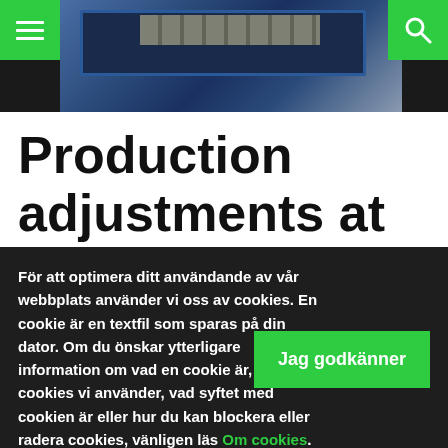Navigation header with menu button, photo of lumber/steel, and search button
Production adjustments at
För att optimera ditt användande av vår webbplats använder vi oss av cookies. En cookie är en textfil som sparas på din dator. Om du önskar ytterligare information om vad en cookie är, vilka cookies vi använder, vad syftet med cookien är eller hur du kan blockera eller radera cookies, vänligen läs Om cookies.